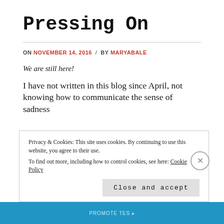Pressing On
ON NOVEMBER 14, 2016 / BY MARYABALE
We are still here!
I have not written in this blog since April, not knowing how to communicate the sense of sadness
Privacy & Cookies: This site uses cookies. By continuing to use this website, you agree to their use.
To find out more, including how to control cookies, see here: Cookie Policy
Close and accept